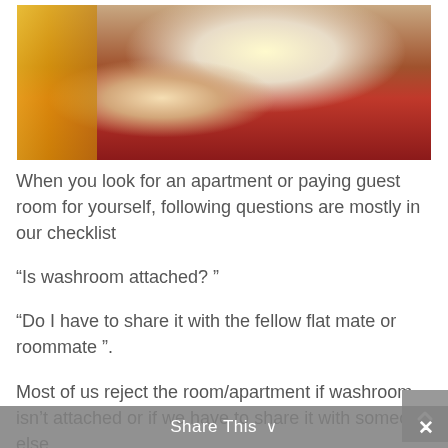[Figure (photo): A person wearing a red short-sleeve shirt and white draped fabric over their shoulder/head, photographed from behind/side. Yellow fabric visible on the left edge.]
When you look for an apartment or paying guest room for yourself, following questions are mostly in our checklist
“Is washroom attached? ”
“Do I have to share it with the fellow flat mate or roommate ”.
Most of us reject the room/apartment if washroom isn’t attached or if we have to share it with someone else.
Share This ∨ ×